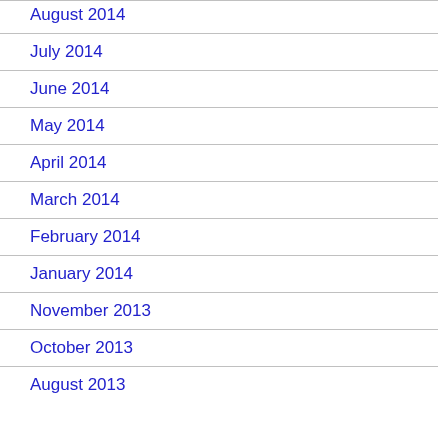August 2014
July 2014
June 2014
May 2014
April 2014
March 2014
February 2014
January 2014
November 2013
October 2013
August 2013